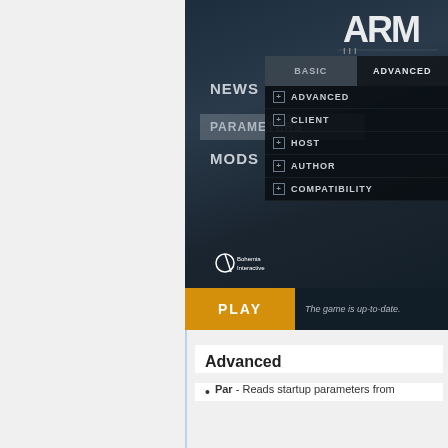[Figure (screenshot): ArmA III game launcher screenshot showing PARAMETERS tab selected with ADVANCED sub-menu expanded showing options: ADVANCED, CLIENT, HOST, AUTHOR, COMPATIBILITY. BASIC and ADVANCED tabs visible at top. NEWS, PARAMETERS, MODS navigation on left. PLAY button at bottom with 'The game is up-to-date.' status. Bohemia Interactive logo visible.]
Advanced
Par - Reads startup parameters from